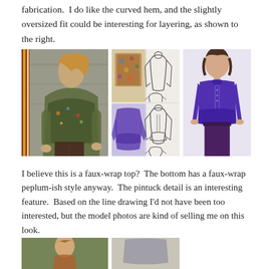fabrication.  I do like the curved hem, and the slightly oversized fit could be interesting for layering, as shown to the right.
[Figure (photo): Three-panel image showing fashion tops: left panel shows a woman wearing a patterned bohemian blouse outdoors; middle panel shows sewing pattern line drawings and fabric views of two tops (a printed version and a purple version); right panel shows a woman wearing a solid purple blouse with pintuck/peplum detail and purple trousers.]
I believe this is a faux-wrap top?  The bottom has a faux-wrap peplum-ish style anyway.  The pintuck detail is an interesting feature.  Based on the line drawing I'd not have been too interested, but the model photos are kind of selling me on this look.
[Figure (photo): Bottom portion of page showing partial images: left shows a person outdoors in green setting, right shows a partial garment image.]